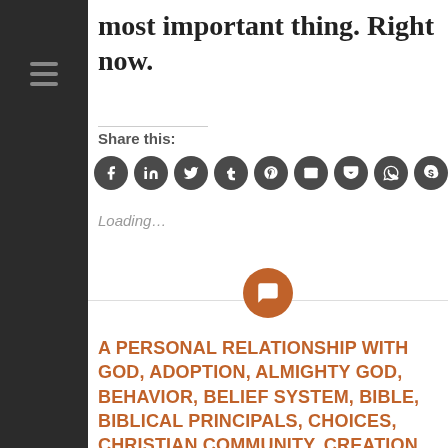most important thing. Right now.
Share this:
[Figure (infographic): Row of 9 circular social media sharing icons (Facebook, LinkedIn, Twitter, Tumblr, Pinterest, Email, Pocket, WhatsApp, Skype) in dark grey circles with white icons]
Loading…
[Figure (other): Horizontal divider line with orange circular comment/speech-bubble icon centered on it]
A PERSONAL RELATIONSHIP WITH GOD, ADOPTION, ALMIGHTY GOD, BEHAVIOR, BELIEF SYSTEM, BIBLE, BIBLICAL PRINCIPALS, CHOICES, CHRISTIAN COMMUNITY, CREATION, FORGIVENESS